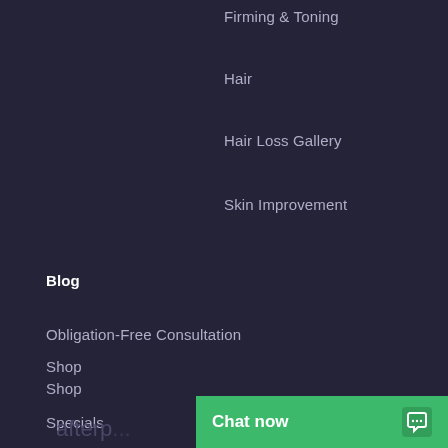Firming & Toning
Hair
Hair Loss Gallery
Skin Improvement
Blog
Obligation-Free Consultation
Shop
Specials
afterp...
Chat now